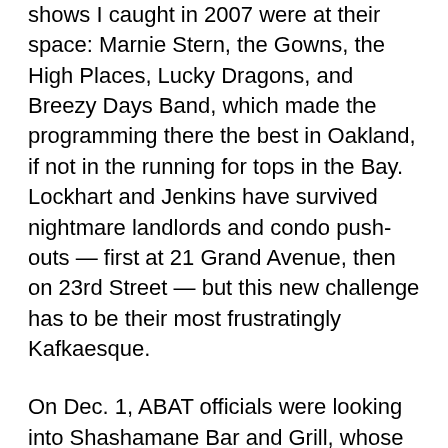shows I caught in 2007 were at their space: Marnie Stern, the Gowns, the High Places, Lucky Dragons, and Breezy Days Band, which made the programming there the best in Oakland, if not in the running for tops in the Bay. Lockhart and Jenkins have survived nightmare landlords and condo push-outs — first at 21 Grand Avenue, then on 23rd Street — but this new challenge has to be their most frustratingly Kafkaesque.
On Dec. 1, ABAT officials were looking into Shashamane Bar and Grill, whose kitchen door shares the alley entrance with 21 Grand. The latter was closing for the night after a performance. Recycling buckets with empty beer bottles, a tip jar, and a cooler led one of the visitors to give Lockhart a card, saying, she